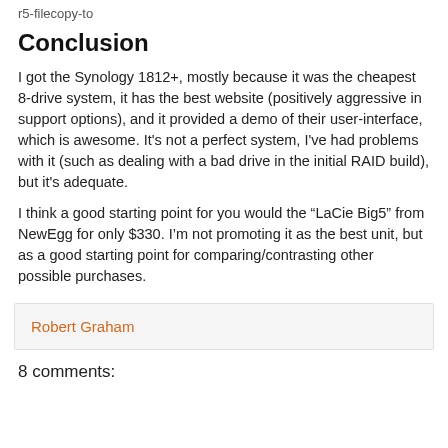r5-filecopy-to
Conclusion
I got the Synology 1812+, mostly because it was the cheapest 8-drive system, it has the best website (positively aggressive in support options), and it provided a demo of their user-interface, which is awesome. It's not a perfect system, I've had problems with it (such as dealing with a bad drive in the initial RAID build), but it's adequate.
I think a good starting point for you would the “LaCie Big5” from NewEgg for only $330. I’m not promoting it as the best unit, but as a good starting point for comparing/contrasting other possible purchases.
Robert Graham
8 comments: